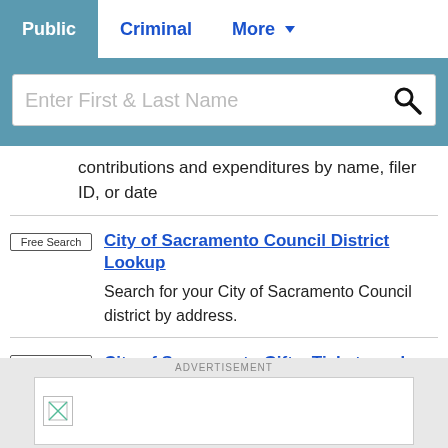Public | Criminal | More
Enter First & Last Name
contributions and expenditures by name, filer ID, or date
City of Sacramento Council District Lookup
Search for your City of Sacramento Council district by address.
City of Sacramento Gifts, Tickets and Behest Reports
View the City of Sacramento form 800 gift
ADVERTISEMENT